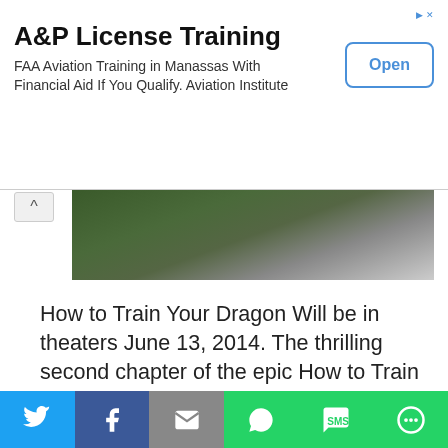[Figure (screenshot): Advertisement banner: A&P License Training - FAA Aviation Training in Manassas With Financial Aid If You Qualify. Aviation Institute. Open button.]
[Figure (photo): Partial image from How to Train Your Dragon movie showing rocky/forest scenery]
How to Train Your Dragon Will be in theaters June 13, 2014. The thrilling second chapter of the epic How to Train Your Dragon trilogy (yes! that means there is one more to be released) brings back the fantastical world of Hiccup and Toothless five years later.
We use cookies to optimize our website and our service.
Accept
[Figure (screenshot): Social sharing bar with Twitter, Facebook, Email, WhatsApp, SMS, and More buttons]